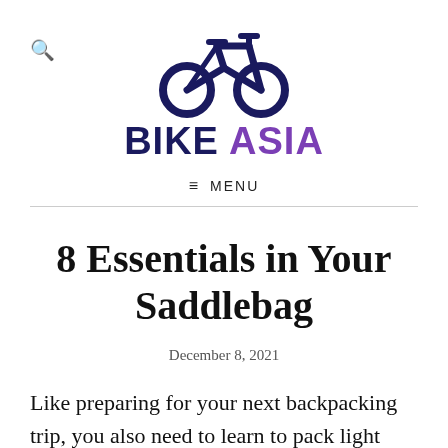[Figure (logo): Bike Asia logo: bicycle icon in dark navy above bold text BIKE ASIA where BIKE is navy and ASIA is purple]
≡ MENU
8 Essentials in Your Saddlebag
December 8, 2021
Like preparing for your next backpacking trip, you also need to learn to pack light